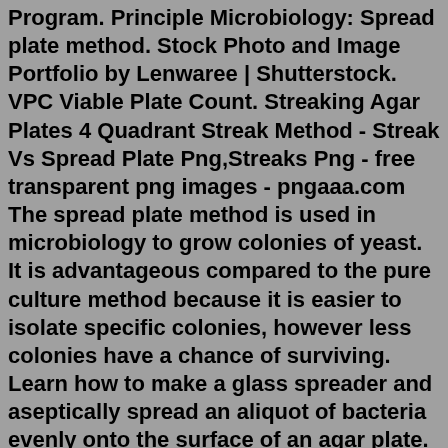Program. Principle Microbiology: Spread plate method. Stock Photo and Image Portfolio by Lenwaree | Shutterstock. VPC Viable Plate Count. Streaking Agar Plates 4 Quadrant Streak Method - Streak Vs Spread Plate Png,Streaks Png - free transparent png images - pngaaa.com The spread plate method is used in microbiology to grow colonies of yeast. It is advantageous compared to the pure culture method because it is easier to isolate specific colonies, however less colonies have a chance of surviving. Learn how to make a glass spreader and aseptically spread an aliquot of bacteria evenly onto the surface of an agar plate. Lift the lid of the plate just enough to insert the loop. Drag the loop over the surface of the top one-third of the plate back and forth in a "zig-zag" formation. The loop has picked up thousands of bacteria which are spread out over the surface of the agar. Sterilize the loop in the flame.The spread plate method A technique to plate a liquid sample containing bacteria so that the bacteria are easy to count and isolate. C ountable number of